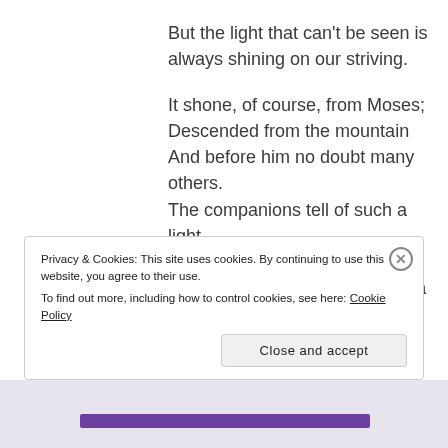But the light that can't be seen is always shining on our striving.
It shone, of course, from Moses;
Descended from the mountain
And before him no doubt many others.
The companions tell of such a light,
In Inigo's last days.
Little brother Schultz had quite a
Privacy & Cookies: This site uses cookies. By continuing to use this website, you agree to their use.
To find out more, including how to control cookies, see here: Cookie Policy